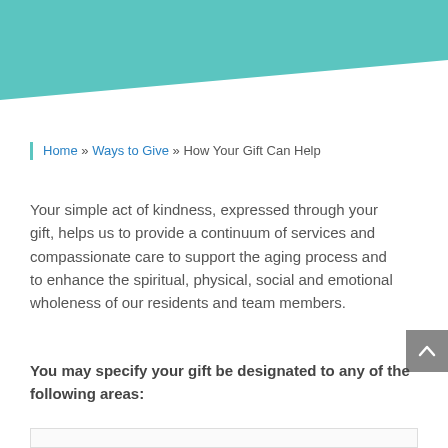[Figure (illustration): Teal/turquoise decorative diagonal shape banner at top of page]
Home » Ways to Give » How Your Gift Can Help
Your simple act of kindness, expressed through your gift, helps us to provide a continuum of services and compassionate care to support the aging process and to enhance the spiritual, physical, social and emotional wholeness of our residents and team members.
You may specify your gift be designated to any of the following areas: